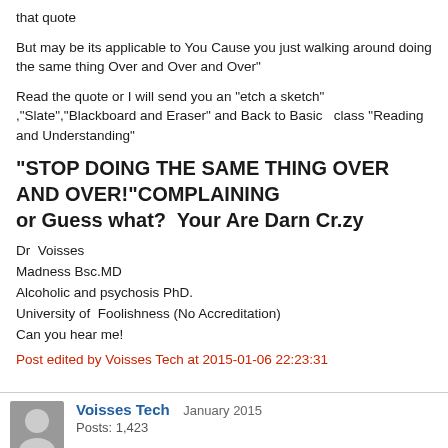that quote
But may be its applicable to You Cause you just walking around doing the same thing Over and Over and Over"
Read the quote or I will send you an "etch a sketch" ,"Slate","Blackboard and Eraser" and Back to Basic  class "Reading and Understanding"
"STOP DOING THE SAME THING OVER AND OVER!"COMPLAINING
or Guess what?  Your Are Darn Cr.zy
Dr  Voisses
Madness Bsc.MD
Alcoholic and psychosis PhD.
University of  Foolishness (No Accreditation)
Can you hear me!
Post edited by Voisses Tech at 2015-01-06 22:23:31
Voisses Tech   January 2015
Posts: 1,423
jason lee said:
Our station isn't a business, however, and only has a few random